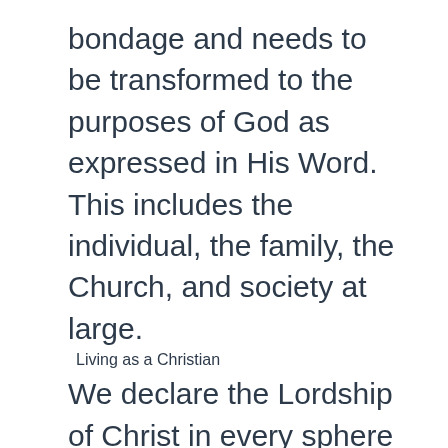bondage and needs to be transformed to the purposes of God as expressed in His Word. This includes the individual, the family, the Church, and society at large.
Living as a Christian
We declare the Lordship of Christ in every sphere through the preaching of His Word, through prayer and the lifestyle of the believer.